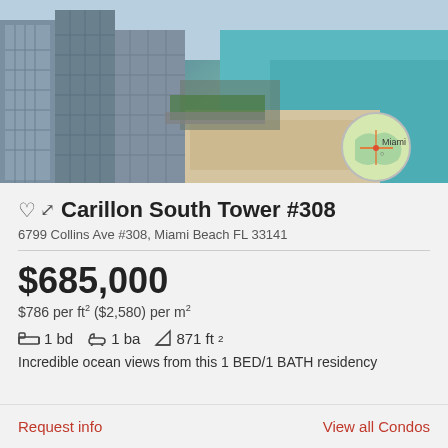[Figure (photo): Aerial view of Miami Beach coastal high-rise buildings with sandy beach, turquoise ocean water, and a circular map inset showing Miami location]
Carillon South Tower #308
6799 Collins Ave #308, Miami Beach FL 33141
$685,000
$786 per ft² ($2,580) per m²
1 bd  1 ba  871 ft²
Incredible ocean views from this 1 BED/1BATH residency
Request info
View all Condos